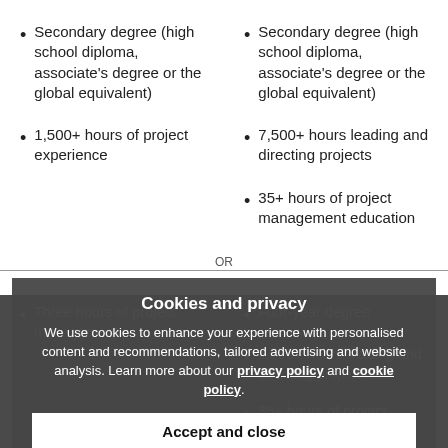Secondary degree (high school diploma, associate's degree or the global equivalent)
1,500+ hours of project experience
Secondary degree (high school diploma, associate's degree or the global equivalent)
7,500+ hours leading and directing projects
35+ hours of project management education
Cookies and privacy
We use cookies to enhance your experience with personalised content and recommendations, tailored advertising and website analysis. Learn more about our privacy policy and cookie policy.
Accept and close